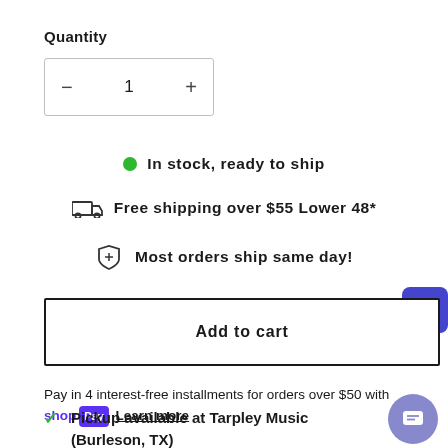Quantity
– 1 +
In stock, ready to ship
Free shipping over $55 Lower 48*
Most orders ship same day!
Add to cart
Pay in 4 interest-free installments for orders over $50 with shop Pay Learn more
Pickup available at Tarpley Music (Burleson, TX)